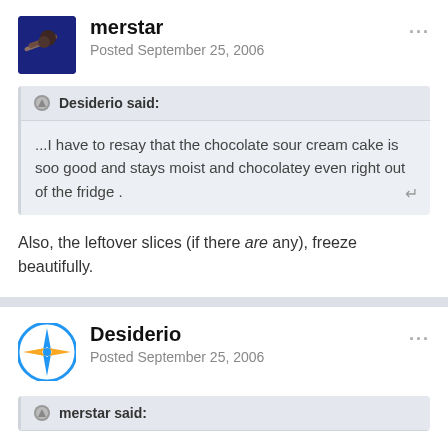merstar
Posted September 25, 2006
Desiderio said:
...I have to resay that the chocolate sour cream cake is soo good and stays moist and chocolatey even right out of the fridge .
Also, the leftover slices (if there are any), freeze beautifully.
Desiderio
Posted September 25, 2006
merstar said: